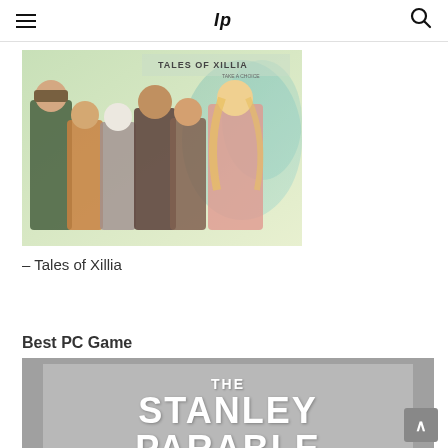IP
[Figure (photo): Anime-style group artwork for Tales of Xillia, showing multiple characters against a light background with game title text at top]
– Tales of Xillia
Best PC Game
[Figure (photo): The Stanley Parable game cover image in grayscale, showing large bold white text THE STANLEY PARABLE on a grey background]